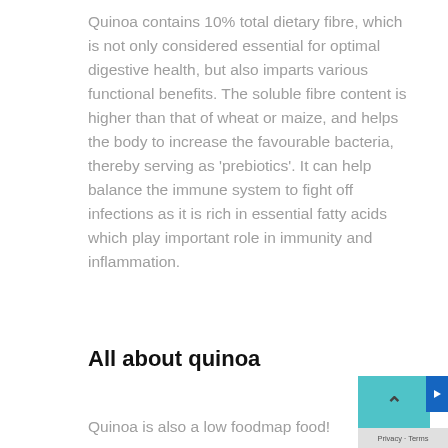Quinoa contains 10% total dietary fibre, which is not only considered essential for optimal digestive health, but also imparts various functional benefits. The soluble fibre content is higher than that of wheat or maize, and helps the body to increase the favourable bacteria, thereby serving as 'prebiotics'. It can help balance the immune system to fight off infections as it is rich in essential fatty acids which play important role in immunity and inflammation.
All about quinoa
Quinoa is also a low foodmap food!